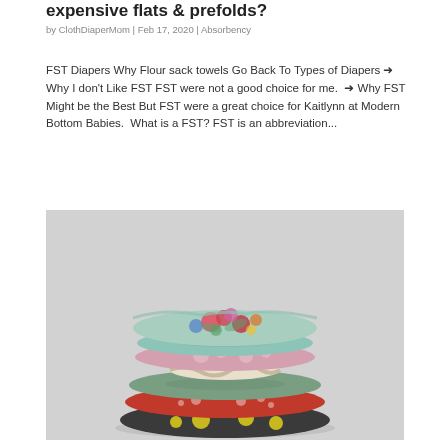expensive flats & prefolds?
by ClothDiaperMom | Feb 17, 2020 | Absorbency
FST Diapers Why Flour sack towels Go Back To Types of Diapers 🡆 Why I don't Like FST FST were not a good choice for me.  🡆 Why FST Might be the Best But FST were a great choice for Kaitlynn at Modern Bottom Babies.  What is a FST? FST is an abbreviation...
[Figure (photo): A stack of colorful cloth diapers in various floral and patterned fabrics, photographed against a light gray background.]